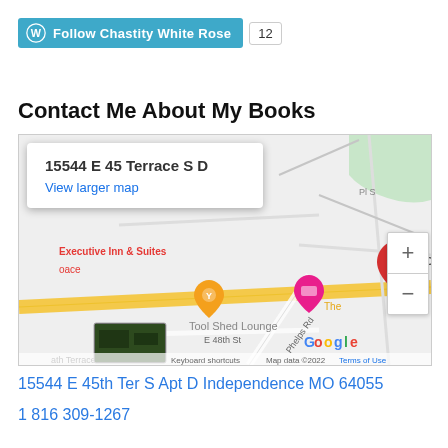[Figure (screenshot): WordPress 'Follow Chastity White Rose' button in teal/blue with WordPress logo, followed by a follower count badge showing '12']
Contact Me About My Books
[Figure (map): Google Maps screenshot showing 15544 E 45 Terrace S D with a red location pin, nearby Points of Interest including Executive Inn & Suites, Tool Shed Lounge, zoom controls, satellite thumbnail, and map attribution including 'Map data ©2022' and 'Terms of Use']
15544 E 45th Ter S Apt D Independence MO 64055
1 816 309-1267